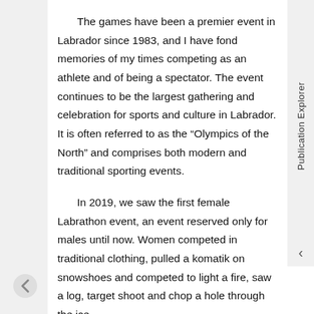The games have been a premier event in Labrador since 1983, and I have fond memories of my times competing as an athlete and of being a spectator. The event continues to be the largest gathering and celebration for sports and culture in Labrador. It is often referred to as the “Olympics of the North” and comprises both modern and traditional sporting events.
In 2019, we saw the first female Labrathon event, an event reserved only for males until now. Women competed in traditional clothing, pulled a komatik on snowshoes and competed to light a fire, saw a log, target shoot and chop a hole through the ice.
I congratulate Nikki Brown-Dyson of Cartwright, the first